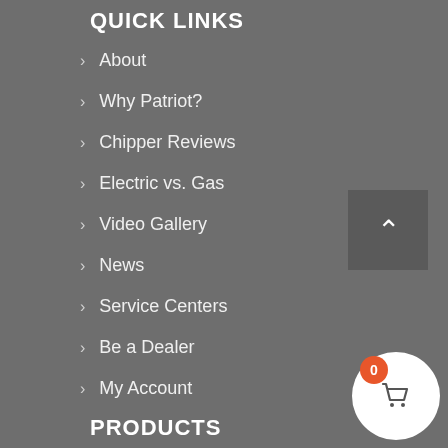QUICK LINKS
About
Why Patriot?
Chipper Reviews
Electric vs. Gas
Video Gallery
News
Service Centers
Be a Dealer
My Account
PRODUCTS
All Products